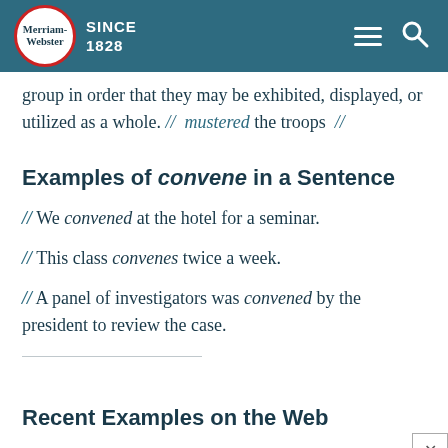Merriam-Webster SINCE 1828
…g p… …g group in order that they may be exhibited, displayed, or utilized as a whole. // mustered the troops //
Examples of convene in a Sentence
// We convened at the hotel for a seminar.
// This class convenes twice a week.
// A panel of investigators was convened by the president to review the case.
Recent Examples on the Web